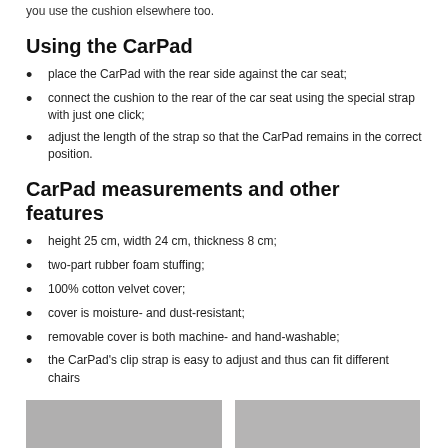you use the cushion elsewhere too.
Using the CarPad
place the CarPad with the rear side against the car seat;
connect the cushion to the rear of the car seat using the special strap with just one click;
adjust the length of the strap so that the CarPad remains in the correct position.
CarPad measurements and other features
height 25 cm, width 24 cm, thickness 8 cm;
two-part rubber foam stuffing;
100% cotton velvet cover;
cover is moisture- and dust-resistant;
removable cover is both machine- and hand-washable;
the CarPad's clip strap is easy to adjust and thus can fit different chairs
[Figure (photo): Two photos of the CarPad product at the bottom of the page]